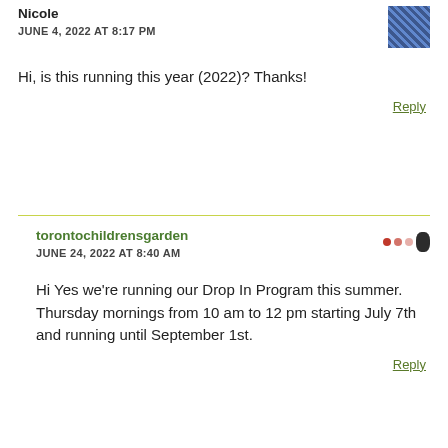Nicole
JUNE 4, 2022 AT 8:17 PM
Hi, is this running this year (2022)? Thanks!
Reply
torontochildrensgarden
JUNE 24, 2022 AT 8:40 AM
Hi Yes we're running our Drop In Program this summer. Thursday mornings from 10 am to 12 pm starting July 7th and running until September 1st.
Reply